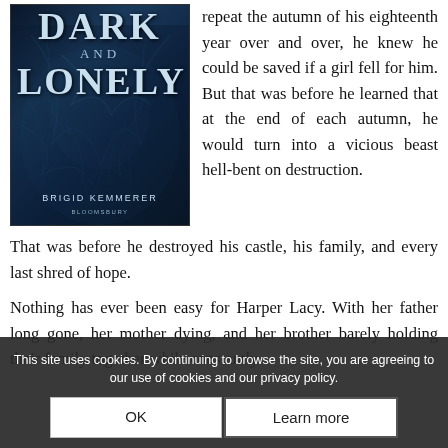[Figure (illustration): Book cover of 'Dark and Lonely' by Brigid Kemmerer, published by Bloomsbury. Dark blue-teal background with tree branches. Title text in large stylized font.]
repeat the autumn of his eighteenth year over and over, he knew he could be saved if a girl fell for him. But that was before he learned that at the end of each autumn, he would turn into a vicious beast hell-bent on destruction. That was before he destroyed his castle, his family, and every last shred of hope.
Nothing has ever been easy for Harper Lacy. With her father long gone, her mother dying, and her brother barely holding their family together while constantly
This site uses cookies. By continuing to browse the site, you are agreeing to our use of cookies and our privacy policy.